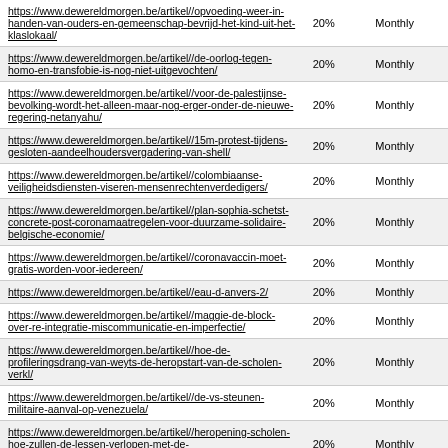| URL | % | Frequency |
| --- | --- | --- |
| https://www.dewereldmorgen.be/artikel//opvoeding-weer-in-handen-van-ouders-en-gemeenschap-bevrijd-het-kind-uit-het-klaslokaal/ | 20% | Monthly |
| https://www.dewereldmorgen.be/artikel//de-oorlog-tegen-homo-en-transfobie-is-nog-niet-uitgevochten/ | 20% | Monthly |
| https://www.dewereldmorgen.be/artikel//voor-de-palestijnse-bevolking-wordt-het-alleen-maar-nog-erger-onder-de-nieuwe-regering-netanyahu/ | 20% | Monthly |
| https://www.dewereldmorgen.be/artikel//15m-protest-tijdens-gesloten-aandeelhoudersvergadering-van-shell/ | 20% | Monthly |
| https://www.dewereldmorgen.be/artikel//colombiaanse-veiligheidsdiensten-viseren-mensenrechtenverdedigers/ | 20% | Monthly |
| https://www.dewereldmorgen.be/artikel//plan-sophia-schetst-concrete-post-coronamaatregelen-voor-duurzame-solidaire-belgische-economie/ | 20% | Monthly |
| https://www.dewereldmorgen.be/artikel//coronavaccin-moet-gratis-worden-voor-iedereen/ | 20% | Monthly |
| https://www.dewereldmorgen.be/artikel//eau-d-anvers-2/ | 20% | Monthly |
| https://www.dewereldmorgen.be/artikel//maggie-de-block-over-re-integratie-miscommunicatie-en-imperfectie/ | 20% | Monthly |
| https://www.dewereldmorgen.be/artikel//hoe-de-profileringsdrang-van-weyts-de-heropstart-van-de-scholen-verkl/ | 20% | Monthly |
| https://www.dewereldmorgen.be/artikel//de-vs-steunen-militaire-aanval-op-venezuela/ | 20% | Monthly |
| https://www.dewereldmorgen.be/artikel//heropening-scholen-hoe-zullen-de-lessen-verlopen-met-de-veiligheidsmaatregelen/ | 20% | Monthly |